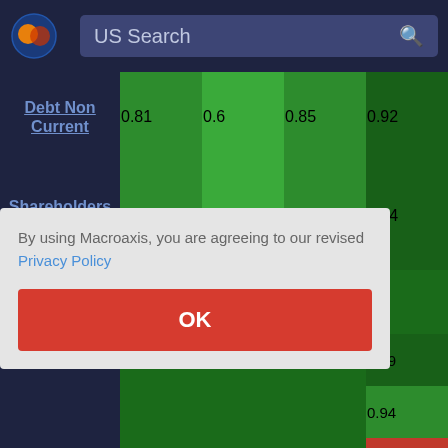[Figure (screenshot): Macroaxis website header with logo and US Search bar]
|  | Col1 | Col2 | Col3 | Col4 |
| --- | --- | --- | --- | --- |
| Debt Non Current | 0.81 | 0.6 | 0.85 | 0.92 |
| Shareholders Equity | 0.74 | 0.53 | 0.79 | 0.94 |
| Goodwill |  |  |  |  |
|  |  |  |  | 0.99 |
|  |  |  |  | 0.94 |
|  |  |  |  | 0.78 |
| Investments | -0.52 | -0.4 | -0.7 | -0.78 |
By using Macroaxis, you are agreeing to our revised Privacy Policy
OK